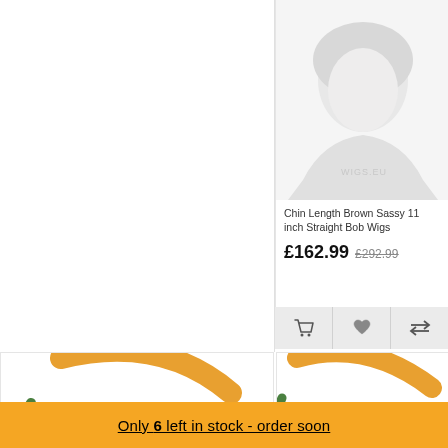[Figure (photo): Product photo placeholder of a person wearing Chin Length Brown Sassy 11 inch Straight Bob Wig, faded/light grey image on white background]
Chin Length Brown Sassy 11 inch Straight Bob Wigs
£162.99  £292.99
[Figure (other): Action bar with shopping cart icon, heart/wishlist icon, and compare arrows icon]
[Figure (logo): Bottom left product card showing partial circular logo with orange, green, and red swooshes]
[Figure (logo): Bottom right product card showing partial circular logo with orange, green, and red swooshes]
Only 6 left in stock - order soon